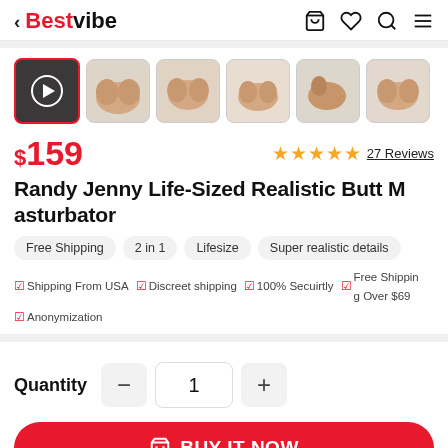< Bestvibe
[Figure (screenshot): Thumbnail row with 6 product images, first thumbnail active with video play button]
$159  ★★★★★  27 Reviews
Randy Jenny Life-Sized Realistic Butt Masturbator
Free Shipping  2 in 1  Lifesize  Super realistic details
✅ Shipping From USA  ✅ Discreet shipping  ✅ 100% Secuirtly  ✅ Free Shipping Over $69  ✅ Anonymization
Quantity  −  1  +
🛍 BUY IT NOW